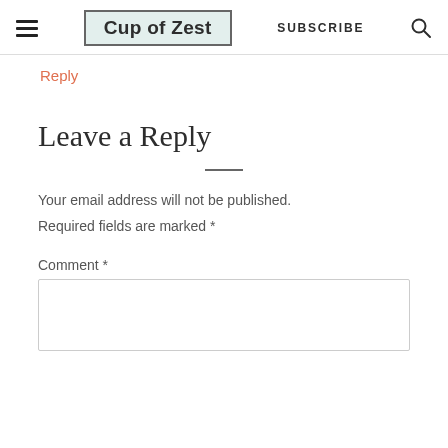Cup of Zest — SUBSCRIBE
Reply
Leave a Reply
Your email address will not be published. Required fields are marked *
Comment *